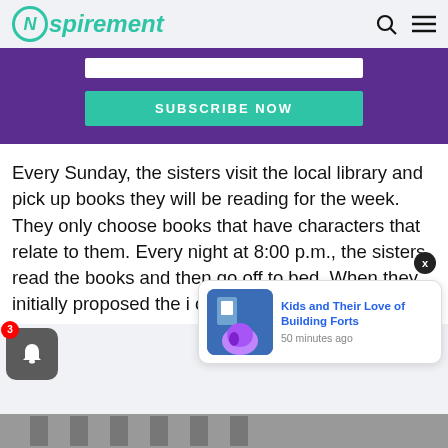Nspirement
[Figure (screenshot): Purple subscribe banner with white input field and teal SUBSCRIBE NOW button]
Every Sunday, the sisters visit the local library and pick up books they will be reading for the week. They only choose books that have characters that relate to them. Every night at 8:00 p.m., the sisters read the books and then go off to bed. When they initially proposed the [idea] oria Willar[d]
[Figure (screenshot): Notification popup: Kids and Their Love of Building Forts, 50 minutes ago, with thumbnail image]
[Figure (photo): Bottom strip showing brick building exterior]